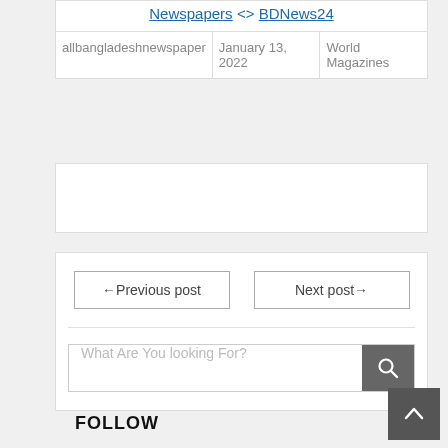Newspapers <> BDNews24
| allbangladeshnewspaper | January 13, 2022 | World Magazines |
[Figure (other): Empty white ad/content box]
← Previous post | Next post →
What Are You looking For? [search button]
FOLLOW